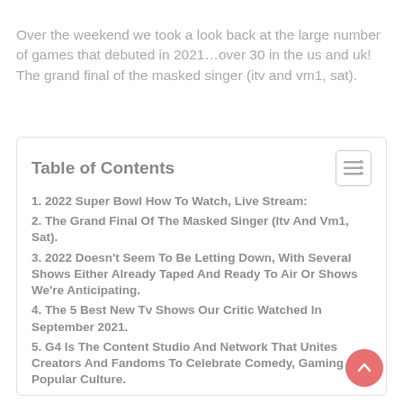Over the weekend we took a look back at the large number of games that debuted in 2021…over 30 in the us and uk! The grand final of the masked singer (itv and vm1, sat).
Table of Contents
1. 2022 Super Bowl How To Watch, Live Stream:
2. The Grand Final Of The Masked Singer (Itv And Vm1, Sat).
3. 2022 Doesn't Seem To Be Letting Down, With Several Shows Either Already Taped And Ready To Air Or Shows We're Anticipating.
4. The 5 Best New Tv Shows Our Critic Watched In September 2021.
5. G4 Is The Content Studio And Network That Unites Creators And Fandoms To Celebrate Comedy, Gaming And Popular Culture.